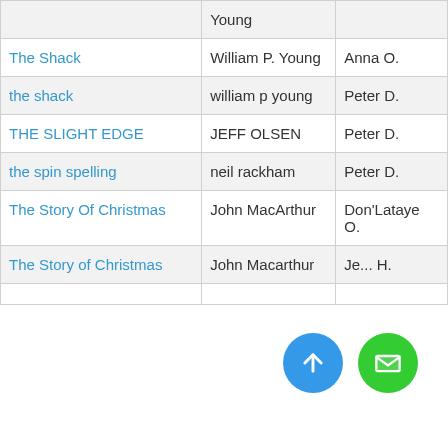|  | Young |  |
| The Shack | William P. Young | Anna O. |
| the shack | william p young | Peter D. |
| THE SLIGHT EDGE | JEFF OLSEN | Peter D. |
| the spin spelling | neil rackham | Peter D. |
| The Story Of Christmas | John MacArthur | Don'Lataye O. |
| The Story of Christmas | John Macarthur | Je... H. |
| ... | ... | ... |